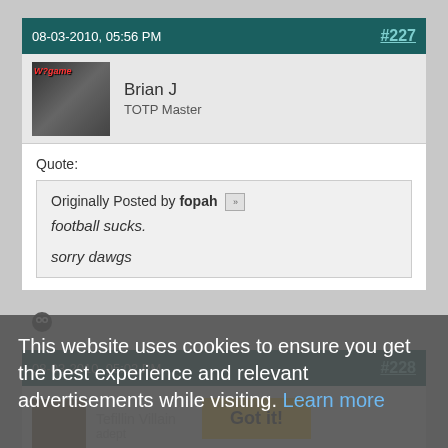08-03-2010, 05:56 PM   #227
Brian J
TOTP Master
Quote:
Originally Posted by fopah
football sucks.

sorry dawgs
08-03-2010, 05:02 PM   #228
Tefillin Villain
adept
Quote:
Originally Posted by fopah
This website uses cookies to ensure you get the best experience and relevant advertisements while visiting. Learn more   Got it!